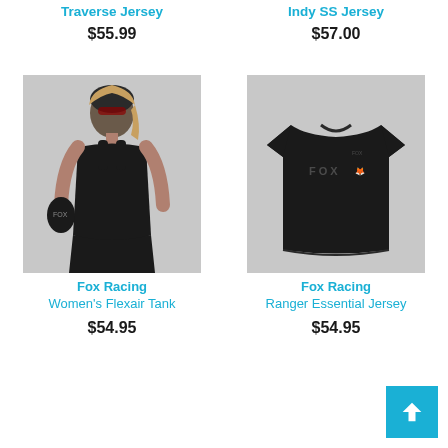Traverse Jersey
$55.99
Indy SS Jersey
$57.00
[Figure (photo): Woman wearing Fox Racing black tank top with helmet and gloves]
Fox Racing Women's Flexair Tank
$54.95
[Figure (photo): Black Fox Racing Ranger Essential Jersey short sleeve t-shirt]
Fox Racing Ranger Essential Jersey
$54.95